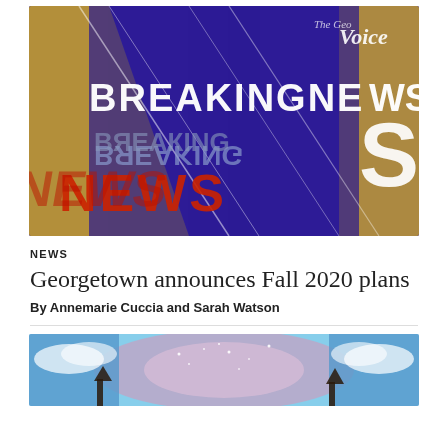[Figure (photo): Breaking News television studio backdrop with purple, gold, and red colors showing 'BREAKING NEWS' text reflected multiple times in various orientations. The Georgetown Voice logo is partially visible in the upper right corner.]
NEWS
Georgetown announces Fall 2020 plans
By Annemarie Cuccia and Sarah Watson
[Figure (photo): Partial image showing a cosmic/space background with silhouettes of buildings or towers visible at the bottom, and blue sky with clouds. The image is cropped and only the top portion is visible.]